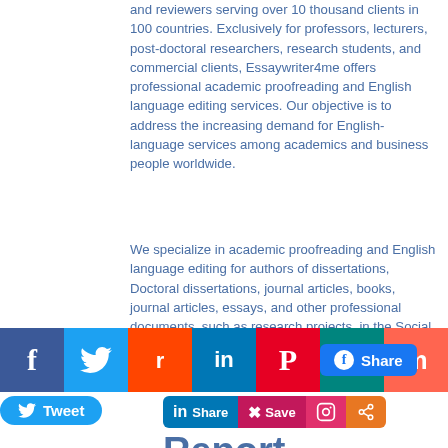and reviewers serving over 10 thousand clients in 100 countries. Exclusively for professors, lecturers, post-doctoral researchers, research students, and commercial clients, Essaywriter4me offers professional academic proofreading and English language editing services. Our objective is to address the increasing demand for English-language services among academics and business people worldwide.
We specialize in academic proofreading and English language editing for authors of dissertations, Doctoral dissertations, journal articles, books, journal articles, essays, and other professional documents, such as research projects, in the Social Sciences, the Sciences, and the Humanities.
[Figure (infographic): Social media sharing bar with icons: Facebook (f), Twitter (bird), Reddit (alien), LinkedIn (in), Pinterest (P), MeWe (mw), Mix (m), WhatsApp (phone). Facebook Share button. Tweet button. LinkedIn Share button. Pinterest Save button. Instagram button. Share button. Partial title text 'Report' visible at bottom.]